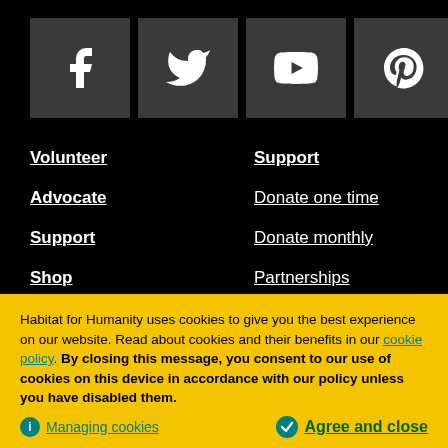[Figure (infographic): Social media icon buttons: Facebook, Twitter, YouTube, Pinterest, Instagram — white icons on dark grey square backgrounds]
Volunteer
Advocate
Support
Shop
Our work
Housing Help
About
Support
Donate one time
Donate monthly
Partnerships
Donate goods
Contact Us
Newsroom
Habitat for Humanity uses cookies to give you the best experience on our website. Read about cookies and their benefits in our cookie policy. By closing this message, you consent to our use of cookies on this device in accordance with our policy unless you have disabled them.
Managing cookies
Agree and close